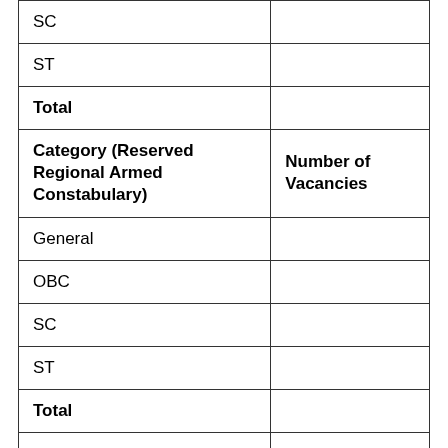| Category (Reserved Regional Armed Constabulary) | Number of Vacancies |
| --- | --- |
| SC |  |
| ST |  |
| Total |  |
| Category (Reserved Regional Armed Constabulary) | Number of Vacancies |
| General |  |
| OBC |  |
| SC |  |
| ST |  |
| Total |  |
| Category ... | Category ... |